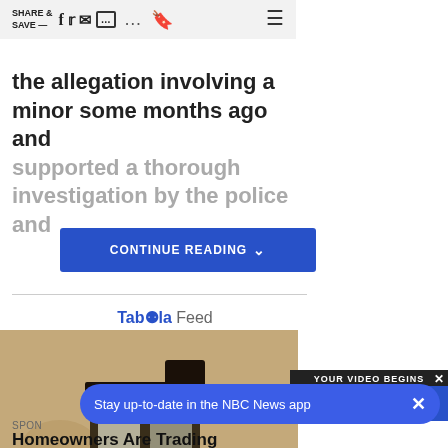SHARE & SAVE — [social icons] ... [bookmark] [menu]
the allegation involving a minor some months ago and supported a thorough investigation by the police and
CONTINUE READING
Tab≣la Feed
[Figure (photo): Outdoor wall lantern with a security camera bulb inserted, mounted on a stucco wall]
YOUR VIDEO BEGINS
TAP TO UNMUTE
SPON...
Homeowners Are Trading
Stay up-to-date in the NBC News app  ×